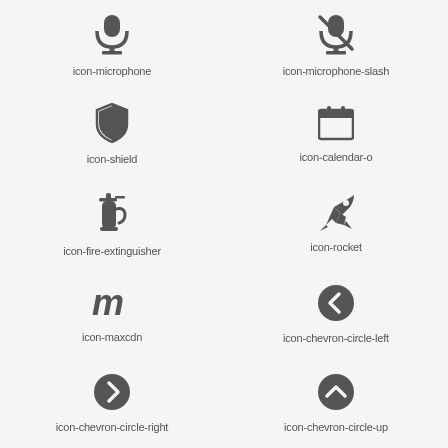[Figure (illustration): Microphone icon (icon-microphone)]
icon-microphone
[Figure (illustration): Microphone with slash icon (icon-microphone-slash)]
icon-microphone-slash
[Figure (illustration): Shield icon (icon-shield)]
icon-shield
[Figure (illustration): Calendar outline icon (icon-calendar-o)]
icon-calendar-o
[Figure (illustration): Fire extinguisher icon (icon-fire-extinguisher)]
icon-fire-extinguisher
[Figure (illustration): Rocket icon (icon-rocket)]
icon-rocket
[Figure (illustration): MaxCDN logo icon (icon-maxcdn)]
icon-maxcdn
[Figure (illustration): Chevron circle left icon (icon-chevron-circle-left)]
icon-chevron-circle-left
[Figure (illustration): Chevron circle right icon (icon-chevron-circle-right)]
icon-chevron-circle-right
[Figure (illustration): Chevron circle up icon (icon-chevron-circle-up)]
icon-chevron-circle-up